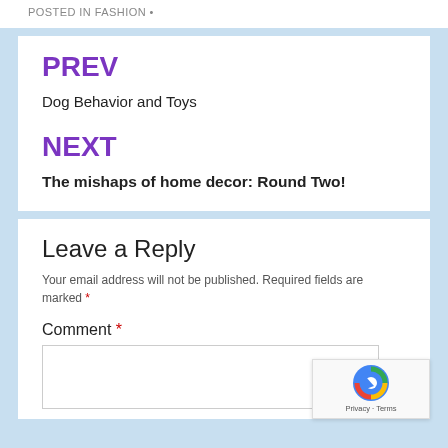POSTED IN FASHION •
PREV
Dog Behavior and Toys
NEXT
The mishaps of home decor: Round Two!
Leave a Reply
Your email address will not be published. Required fields are marked *
Comment *